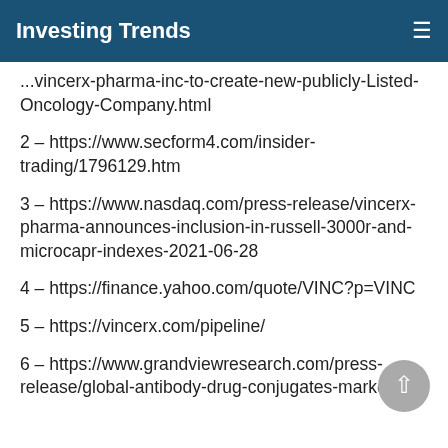Investing Trends
...vincerx-pharma-inc-to-create-new-publicly-Listed-Oncology-Company.html
2 – https://www.secform4.com/insider-trading/1796129.htm
3 – https://www.nasdaq.com/press-release/vincerx-pharma-announces-inclusion-in-russell-3000r-and-microcapr-indexes-2021-06-28
4 – https://finance.yahoo.com/quote/VINC?p=VINC
5 – https://vincerx.com/pipeline/
6 – https://www.grandviewresearch.com/press-release/global-antibody-drug-conjugates-market